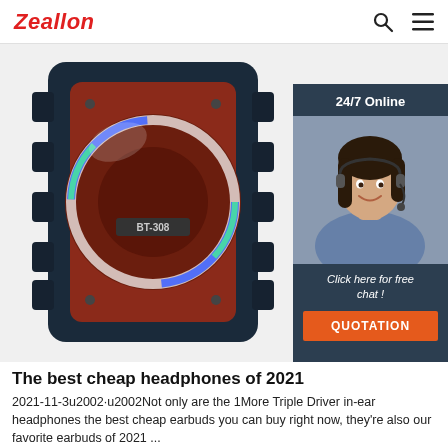Zeallon
[Figure (photo): A Zeallon BT-308 Bluetooth speaker with red mesh grille and colorful LED ring light, dark blue/black rugged casing. Overlay on right shows a customer service agent with headset (24/7 Online), text 'Click here for free chat!', and an orange QUOTATION button.]
The best cheap headphones of 2021
2021-11-3u2002·u2002Not only are the 1More Triple Driver in-ear headphones the best cheap earbuds you can buy right now, they're also our favorite earbuds of 2021 ...